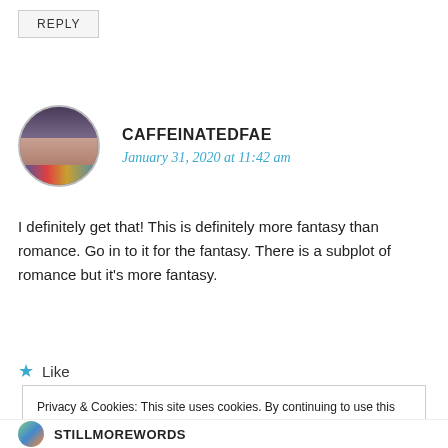REPLY
CAFFEINATEDFAE
January 31, 2020 at 11:42 am
I definitely get that! This is definitely more fantasy than romance. Go in to it for the fantasy. There is a subplot of romance but it's more fantasy.
Like
Privacy & Cookies: This site uses cookies. By continuing to use this website, you agree to their use.
To find out more, including how to control cookies, see here: Cookie Policy
Close and accept
STILLMOREWORDS